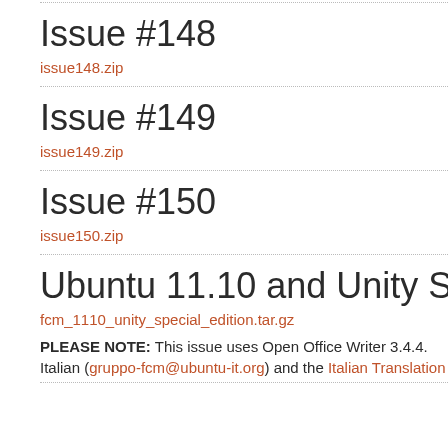Issue #148
issue148.zip
Issue #149
issue149.zip
Issue #150
issue150.zip
Ubuntu 11.10 and Unity Special Ed
fcm_1110_unity_special_edition.tar.gz
PLEASE NOTE: This issue uses Open Office Writer 3.4.4.
Italian (gruppo-fcm@ubuntu-it.org) and the Italian Translation T